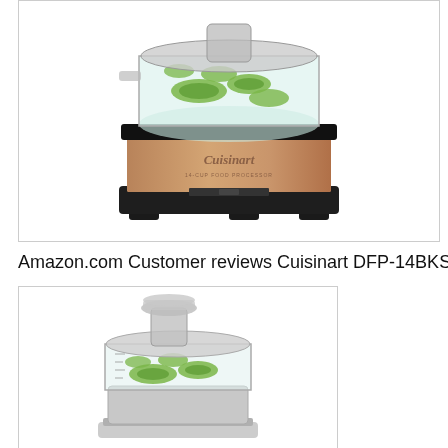[Figure (photo): Cuisinart food processor in copper/rose gold color with black base, shown with sliced cucumbers in the clear bowl, viewed from slightly above]
Amazon.com Customer reviews Cuisinart DFP-14BKS
[Figure (photo): Cuisinart food processor in silver/stainless color with clear bowl containing sliced cucumbers, viewed from the front]